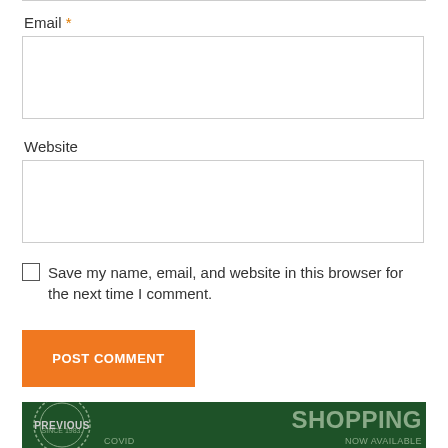Email *
Website
Save my name, email, and website in this browser for the next time I comment.
POST COMMENT
[Figure (photo): Dark green banner image with 'SHOPPING' text visible and circular badge, with 'PREVIOUS' label overlay and partially visible text 'COVID' and 'NOW AVAILABLE']